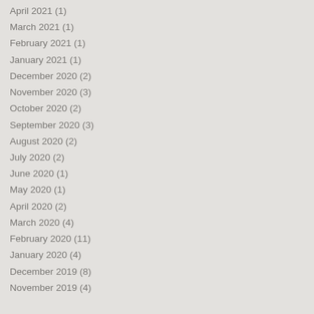April 2021 (1)
March 2021 (1)
February 2021 (1)
January 2021 (1)
December 2020 (2)
November 2020 (3)
October 2020 (2)
September 2020 (3)
August 2020 (2)
July 2020 (2)
June 2020 (1)
May 2020 (1)
April 2020 (2)
March 2020 (4)
February 2020 (11)
January 2020 (4)
December 2019 (8)
November 2019 (4)